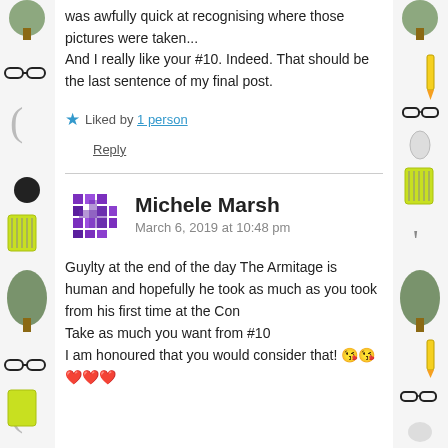was awfully quick at recognising where those pictures were taken...
And I really like your #10. Indeed. That should be the last sentence of my final post.
★ Liked by 1 person
Reply
[Figure (illustration): Purple pixel/mosaic avatar icon for Michele Marsh]
Michele Marsh
March 6, 2019 at 10:48 pm
Guylty at the end of the day The Armitage is human and hopefully he took as much as you took from his first time at the Con
Take as much you want from #10
I am honoured that you would consider that! 😘😘❤️❤️❤️